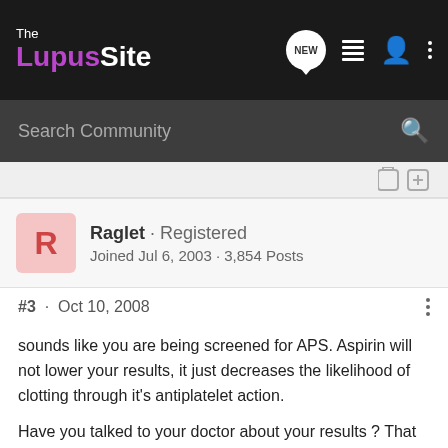The Lupus Site — navigation bar with NEW, list, user, and more icons
Search Community
[Figure (other): Two small icon buttons (bookmark and share) on a light gray divider bar]
Raglet · Registered
Joined Jul 6, 2003 · 3,854 Posts
#3 · Oct 10, 2008
sounds like you are being screened for APS. Aspirin will not lower your results, it just decreases the likelihood of clotting through it's antiplatelet action.

Have you talked to your doctor about your results ? That would be my first port of call.

cheers